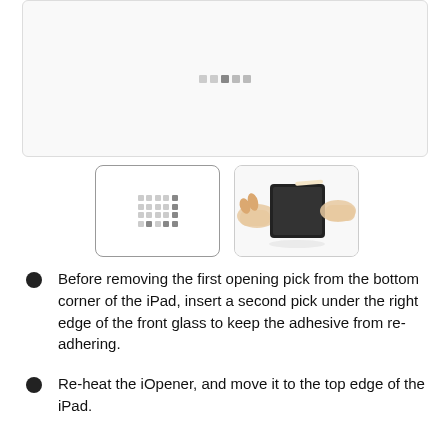[Figure (photo): Large main image area showing a step image (partially visible/loading) with a dot-grid placeholder pattern at top center]
[Figure (photo): Thumbnail 1: dot-grid placeholder image in a rounded white box]
[Figure (photo): Thumbnail 2: photo of two hands inserting a pick under the edge of an iPad (black tablet on white background)]
Before removing the first opening pick from the bottom corner of the iPad, insert a second pick under the right edge of the front glass to keep the adhesive from re-adhering.
Re-heat the iOpener, and move it to the top edge of the iPad.